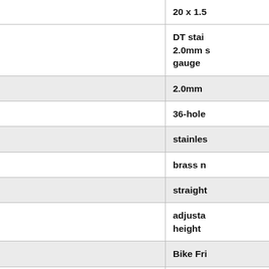| Specification | Value |
| --- | --- |
| Rear Tire Size | 20 x 1.5 |
| Spoke Brand | DT stainless 2.0mm s gauge |
| Spoke Gauge | 2.0mm |
| Spoke Holes | 36-hole |
| Spoke Material | stainless |
| Spoke Nipples | brass n |
| Spoke Type | straight |
| Available Sizes | adjusta height |
| Brand | Bike Fri |
| Component Group | Folding |
| Fork | Unspec |
| Frame Material | Steel |
| Hubs | Front: S Ultegra, Spectro |
| Rims | Sun Rim |
| Tires | 20 x 1.3 Comet |